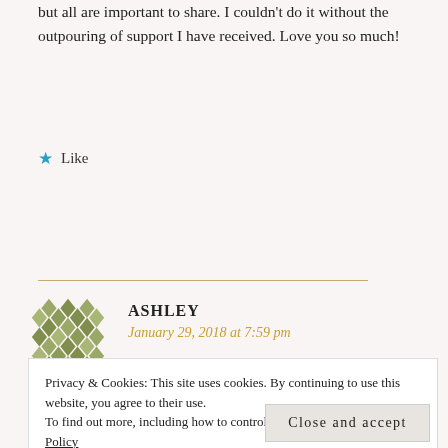but all are important to share. I couldn't do it without the outpouring of support I have received. Love you so much!
★ Like
REPLY
ASHLEY
January 29, 2018 at 7:59 pm
Privacy & Cookies: This site uses cookies. By continuing to use this website, you agree to their use.
To find out more, including how to control cookies, see here: Cookie Policy
Close and accept
and best wishes to you and your new family!